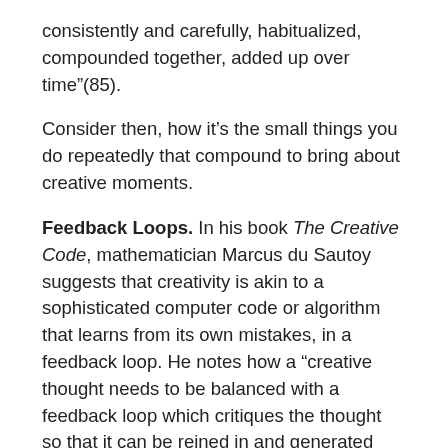consistently and carefully, habitualized, compounded together, added up over time”(85).
Consider then, how it’s the small things you do repeatedly that compound to bring about creative moments.
Feedback Loops. In his book The Creative Code, mathematician Marcus du Sautoy suggests that creativity is akin to a sophisticated computer code or algorithm that learns from its own mistakes, in a feedback loop. He notes how a “creative thought needs to be balanced with a feedback loop which critiques the thought so that it can be reined in and generated again” (125). This relates to Taleb and Adria’s cataloguing negative results and trends. Consider then, how to build feedback loops into your process to accelerate your learning.